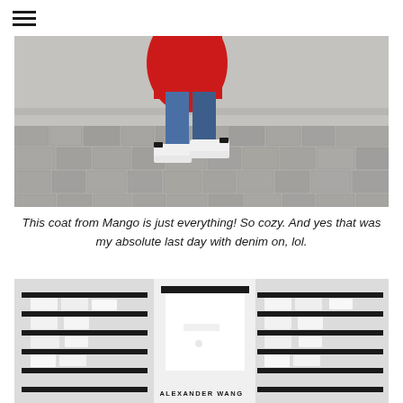☰ (hamburger menu icon)
[Figure (photo): Lower body of a person wearing a red coat, blue denim jeans, and white sneakers with black accent, standing on cobblestone pavement. Black and white photo with color accents on the coat, jeans, and shoes.]
This coat from Mango is just everything! So cozy. And yes that was my absolute last day with denim on, lol.
[Figure (photo): Interior of an Alexander Wang store showing white shelving units with shoe displays on both sides, with the Alexander Wang brand name text centered at the bottom of a white back wall alcove.]